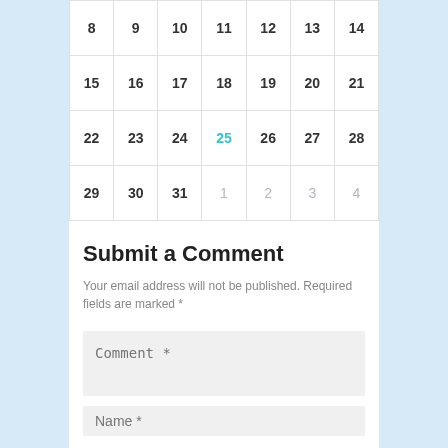| 8 | 9 | 10 | 11 | 12 | 13 | 14 |
| 15 | 16 | 17 | 18 | 19 | 20 | 21 |
| 22 | 23 | 24 | 25 | 26 | 27 | 28 |
| 29 | 30 | 31 | 1 | 2 | 3 | 4 |
Submit a Comment
Your email address will not be published. Required fields are marked *
Comment *
Name *